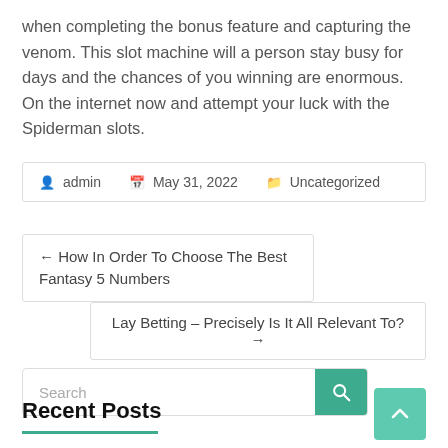when completing the bonus feature and capturing the venom. This slot machine will a person stay busy for days and the chances of you winning are enormous. On the internet now and attempt your luck with the Spiderman slots.
admin  May 31, 2022  Uncategorized
← How In Order To Choose The Best Fantasy 5 Numbers
Lay Betting – Precisely Is It All Relevant To? →
Search
Recent Posts